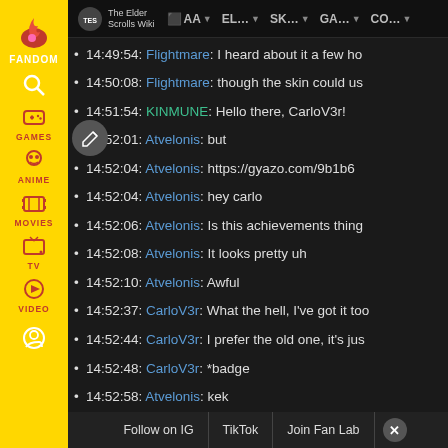[Figure (screenshot): Fandom wiki sidebar with yellow background showing navigation icons for Games, Anime, Movies, TV, Video categories, and a Fandom logo at top]
The Elder Scrolls Wiki | AA | EL... | SK... | GA... | CO...
14:49:54: Flightmare: I heard about it a few ho
14:50:08: Flightmare: though the skin could us
14:51:54: KINMUNE: Hello there, CarloV3r!
14:52:01: Atvelonis: but
14:52:04: Atvelonis: https://gyazo.com/9b1b6
14:52:04: Atvelonis: hey carlo
14:52:06: Atvelonis: Is this achievements thing
14:52:08: Atvelonis: It looks pretty uh
14:52:10: Atvelonis: Awful
14:52:37: CarloV3r: What the hell, I've got it too
14:52:44: CarloV3r: I prefer the old one, it's jus
14:52:48: CarloV3r: *badge
14:52:58: Atvelonis: kek
14:53:31: CarloV3r: Gonna try to install Battles
14:53:47: CarloV3r: Managed to install Arena th
14:54:17: Atvelonis: Oh it says "save page" rath
14:55:18: Atvelonis: when you're editing
Follow on IG | TikTok | Join Fan Lab | X